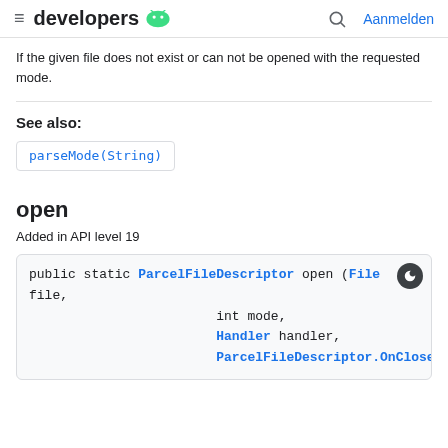≡ developers 🤖  🔍  Aanmelden
If the given file does not exist or can not be opened with the requested mode.
See also:
parseMode(String)
open
Added in API level 19
public static ParcelFileDescriptor open (File file,
        int mode,
        Handler handler,
        ParcelFileDescriptor.OnCloseListener